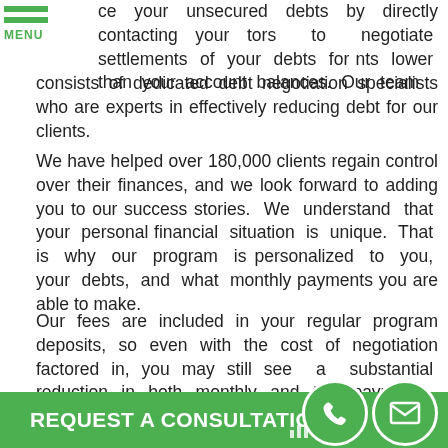MENU
ce your unsecured debts by directly contacting your tors to negotiate settlements of your debts for nts lower than your account balances. Our team consists of dedicated debt negotiation specialists who are experts in effectively reducing debt for our clients.
We have helped over 180,000 clients regain control over their finances, and we look forward to adding you to our success stories. We understand that your personal financial situation is unique. That is why our program is personalized to you, your debts, and what monthly payments you are able to make.
Our fees are included in your regular program deposits, so even with the cost of negotiation factored in, you may still see a substantial reduction in both monthly and total payments. We are dedicated to providing a 5-star experience to all of our clients, and will deliver a solution that meets your needs and lifestyle.
REQUEST A CONSULTATION